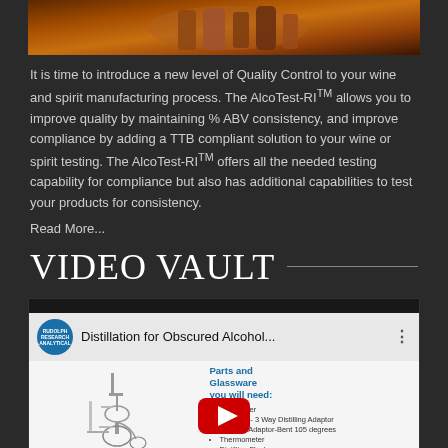[Figure (photo): Photo of wine and spirit bottles with amber/orange lighting background]
It is time to introduce a new level of Quality Control to your wine and spirit manufacturing process. The AlcoTest-RI™ allows you to improve quality by maintaining % ABV consistency, and improve compliance by adding a TTB compliant solution to your wine or spirit testing. The AlcoTest-RI™ offers all the needed testing capability for compliance but also has additional capabilities to test your products for consistency.
Read More...
VIDEO VAULT
[Figure (screenshot): YouTube video screenshot titled 'Distillation for Obscured Alcohol...' showing lab glassware diagram and parts list including Condenser, Stillhead - 3 Way Distilling Adaptor, Vacuum Adaptor-Bent 105 degrees, Thermometer, Distilling Flask, Receiving Flask]